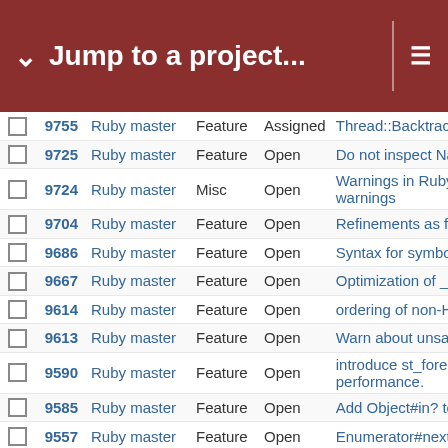Jump to a project...
|  | # | Project | Tracker | Status | Subject |
| --- | --- | --- | --- | --- | --- |
|  | 9755 | Ruby master | Feature | Assigned | Thread::Backtrace |
|  | 9725 | Ruby master | Feature | Open | Do not inspect Na |
|  | 9724 | Ruby master | Misc | Open | Warnings in Ruby: warnings |
|  | 9704 | Ruby master | Feature | Open | Refinements as fil |
|  | 9686 | Ruby master | Feature | Open | Syntax for symbol |
|  | 9667 | Ruby master | Feature | Open | Optimization of __ |
|  | 9614 | Ruby master | Feature | Open | ordering of non-Ha |
|  | 9613 | Ruby master | Feature | Open | Warn about unsaf |
|  | 9590 | Ruby master | Feature | Open | introduce st_forea performance. |
|  | 9585 | Ruby master | Feature | Open | Add Object#in? to |
|  | 9557 | Ruby master | Feature | Open | Enumerator#next |
|  | 9556 | Ruby master | Feature | Open | Add HTTP#get blo |
|  | 9553 | Ruby master | Feature | Open | Make argument va |
|  | 9527 | Ruby master | Feature | Open | make Net::HTTP.g parameter |
|  | 9522 | Ruby master | Feature | Open | Float("NaN"), Flo |